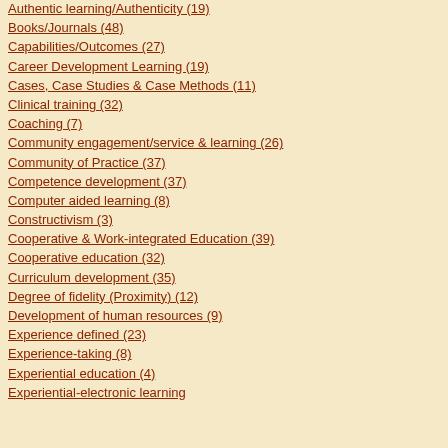Authentic learning/Authenticity (19)
Books/Journals (48)
Capabilities/Outcomes (27)
Career Development Learning (19)
Cases, Case Studies & Case Methods (11)
Clinical training (32)
Coaching (7)
Community engagement/service & learning (26)
Community of Practice (37)
Competence development (37)
Computer aided learning (8)
Constructivism (3)
Cooperative & Work-integrated Education (39)
Cooperative education (32)
Curriculum development (35)
Degree of fidelity (Proximity) (12)
Development of human resources (9)
Experience defined (23)
Experience-taking (8)
Experiential education (4)
Experiential-electronic learning (EE-learning) (8)
4. Intrusions are prevalent of real life...not advisable that facilitators intrude...participants
In addition to real life, Jones (1995) diffe... interactive methodologies. He also adds...
Ambivalent/ce originate from Latin 'amb... is the simultaneous/coexisting conflicting... repulsion. Jones (1995: 19) uses the ter... methodologies, which may cause consid...
Jones, K. 1995. Simulations, a handboo...
Posted on 27 October 2011 at 22:36 in Games...
Comments
You can follow this conversation by su...
Post a comment
Sign in with Typepad Facebook